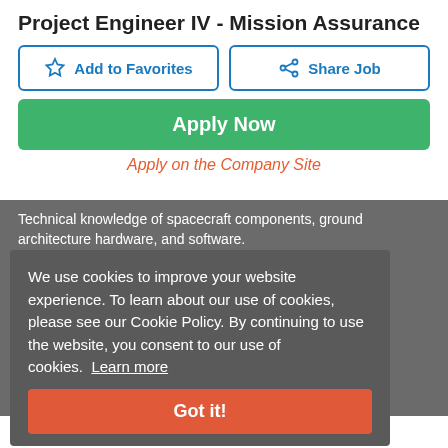Project Engineer IV - Mission Assurance
Add to Favorites
Share Job
Apply Now
Apply on the Company Site
Technical knowledge of spacecraft components, ground architecture hardware, and software.
community, and ongoing tools.
Responsibilities
Project Engineer IV Mission Assurance:
We use cookies to improve your website experience. To learn about our use of cookies, please see our Cookie Policy. By continuing to use the website, you consent to our use of cookies. Learn more
Got it!
The primary objective of this Intelligence